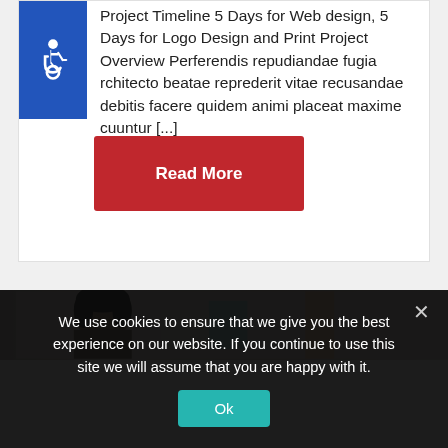Project Timeline 5 Days for Web design, 5 Days for Logo Design and Print Project Overview Perferendis repudiandae fugia rchitecto beatae reprederit vitae recusandae debitis facere quidem animi placeat maxime cuuntur [...]
[Figure (illustration): Blue accessibility wheelchair icon on dark blue square background]
Read More
[Figure (photo): Partial photo strip showing a person's face and upper body, cropped at bottom of card area]
We use cookies to ensure that we give you the best experience on our website. If you continue to use this site we will assume that you are happy with it.